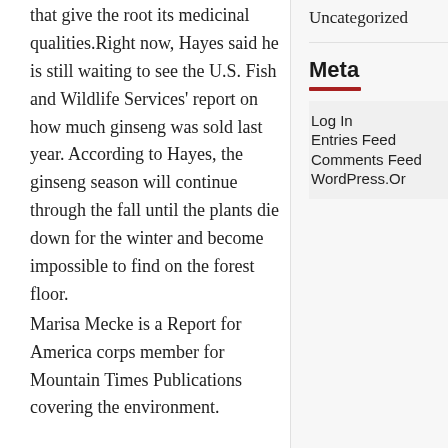that give the root its medicinal qualities.Right now, Hayes said he is still waiting to see the U.S. Fish and Wildlife Services' report on how much ginseng was sold last year. According to Hayes, the ginseng season will continue through the fall until the plants die down for the winter and become impossible to find on the forest floor.
Marisa Mecke is a Report for America corps member for Mountain Times Publications covering the environment.
Uncategorized
Meta
Log In
Entries Feed
Comments Feed
WordPress.Or